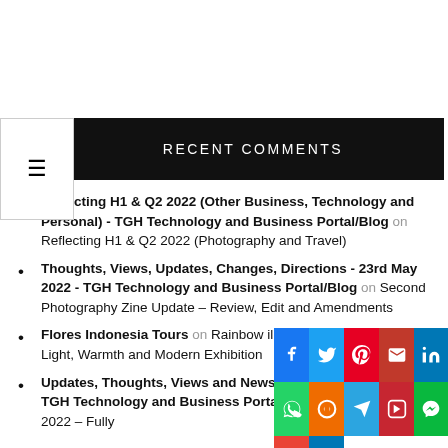RECENT COMMENTS
Reflecting H1 & Q2 2022 (Other Business, Technology and Personal) - TGH Technology and Business Portal/Blog on Reflecting H1 & Q2 2022 (Photography and Travel)
Thoughts, Views, Updates, Changes, Directions - 23rd May 2022 - TGH Technology and Business Portal/Blog on Second Photography Zine Update – Review, Edit and Amendments
Flores Indonesia Tours on Rainbow illumiNation – Celebrating [something] [something] [Modern] Exhibition
Updates, T[hrough]... [new] May 2022 Labour Day - TGH Technology and Business Portal/Blog [on] [something] Theme Q2 2022 – Fully
[Figure (screenshot): Social media share buttons overlay: Facebook, Twitter, Pinterest, Email, LinkedIn, WhatsApp, Copy, Telegram, Flipboard, WeChat, Gmail, Add More]